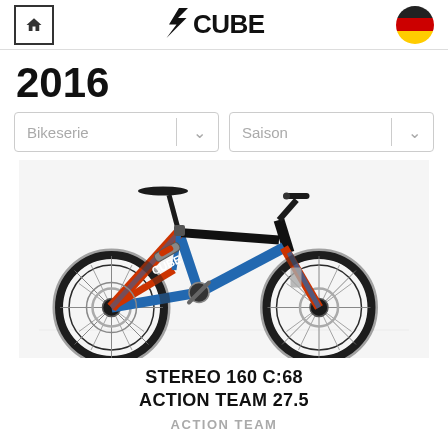CUBE
2016
Bikeserie
Saison
[Figure (photo): Cube Stereo 160 C:68 Action Team 27.5 full-suspension mountain bike in blue and red/orange colorway, facing left]
STEREO 160 C:68 ACTION TEAM 27.5
ACTION TEAM